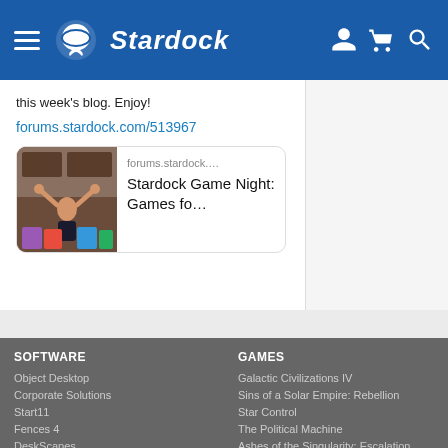Stardock navigation bar with logo, hamburger menu, user icon, cart icon, search icon
this week's blog. Enjoy!
forums.stardock.com/513967
[Figure (screenshot): Link card preview showing a photo of a person with hands raised surrounded by board games, with text 'forums.stardock.... Stardock Game Night: Games fo...']
SOFTWARE
Object Desktop
Corporate Solutions
Start11
Fences 4
DeskScapes
Multiplicity
GAMES
Galactic Civilizations IV
Sins of a Solar Empire: Rebellion
Star Control
The Political Machine
Ashes of the Singularity: Escalation
Offworld Trading Company